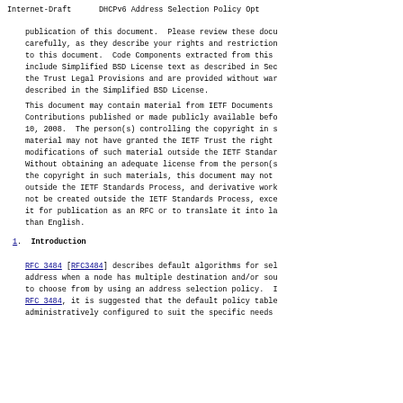Internet-Draft      DHCPv6 Address Selection Policy Opt
publication of this document.  Please review these docu carefully, as they describe your rights and restriction to this document.  Code Components extracted from this include Simplified BSD License text as described in Sec the Trust Legal Provisions and are provided without war described in the Simplified BSD License.
This document may contain material from IETF Documents Contributions published or made publicly available befo 10, 2008.  The person(s) controlling the copyright in s material may not have granted the IETF Trust the right modifications of such material outside the IETF Standar Without obtaining an adequate license from the person(s the copyright in such materials, this document may not outside the IETF Standards Process, and derivative work not be created outside the IETF Standards Process, exce it for publication as an RFC or to translate it into la than English.
1.  Introduction
RFC 3484 [RFC3484] describes default algorithms for sel address when a node has multiple destination and/or sou to choose from by using an address selection policy.  I RFC 3484, it is suggested that the default policy table administratively configured to suit the specific needs